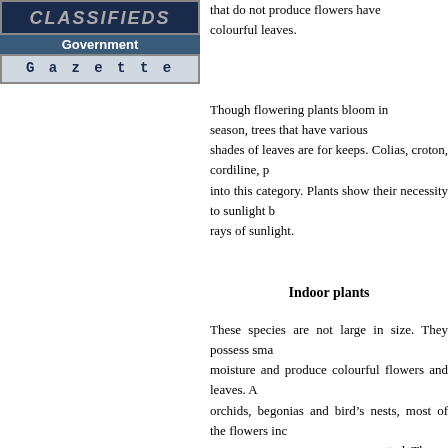[Figure (logo): Classifieds Government Gazette logo with dark blue banner and grey text area]
that do not produce flowers have colourful leaves.
Though flowering plants bloom in season, trees that have various shades of leaves are for keeps. Colias, croton, cordiline, p into this category. Plants show their necessity to sunlight b rays of sunlight.
Indoor plants
These species are not large in size. They possess sma moisture and produce colourful flowers and leaves. A orchids, begonias and bird's nests, most of the flowers inc exported. Th very sensitiv Therefore th your attentio
Plants that p provided wi with care. Sh by either p larger trees most suitabl them inside